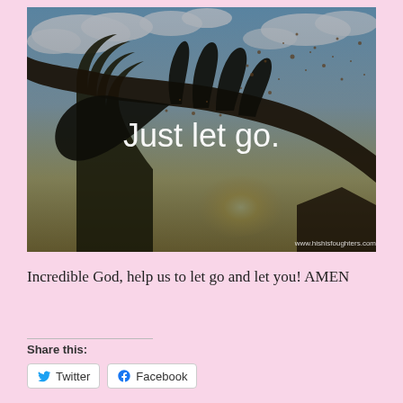[Figure (photo): Silhouette of a hand releasing dust/soil particles against a bright backlit sky with clouds and a tree. White text overlay reads 'Just let go.' Watermark at bottom: www.hishisfoughters.com]
Incredible God, help us to let go and let you! AMEN
Share this:
Twitter
Facebook